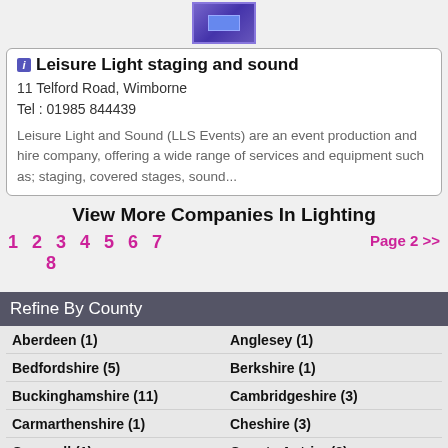[Figure (logo): Purple/blue logo graphic for Leisure Light staging and sound]
Leisure Light staging and sound
11 Telford Road, Wimborne
Tel : 01985 844439
Leisure Light and Sound (LLS Events) are an event production and hire company, offering a wide range of services and equipment such as; staging, covered stages, sound...
View More Companies In Lighting
1  2  3  4  5  6  7  8    Page 2 >>
Refine By County
Aberdeen (1)
Anglesey (1)
Bedfordshire (5)
Berkshire (1)
Buckinghamshire (11)
Cambridgeshire (3)
Carmarthenshire (1)
Cheshire (3)
Cornwall (1)
County Antrim (3)
County Armagh (1)
County Durham (2)
County Tyrone (1)
Cumberland (2)